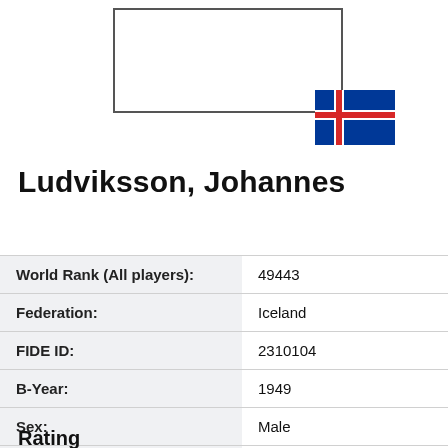[Figure (illustration): Empty photo placeholder box with Icelandic flag icon in bottom-right corner]
Ludviksson, Johannes
| Field | Value |
| --- | --- |
| World Rank (All players): | 49443 |
| Federation: | Iceland |
| FIDE ID: | 2310104 |
| B-Year: | 1949 |
| Sex: | Male |
| FIDE title: | None |
Rating